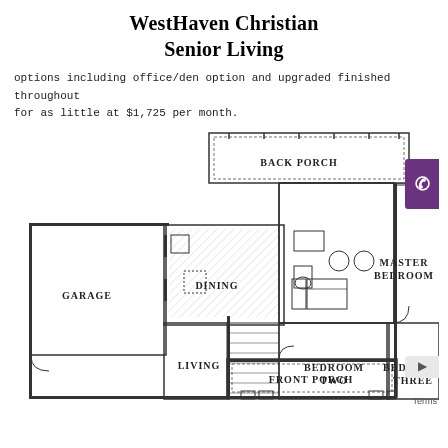WestHaven Christian Senior Living
options including office/den option and upgraded finished throughout for as little at $1,725 per month.
[Figure (engineering-diagram): Floor plan of a home showing: Back Porch, Master Bedroom, Dining, Garage, Living, Bedroom Two, Bedroom Three, Front Porch rooms with architectural symbols for walls, doors, windows, and fixtures.]